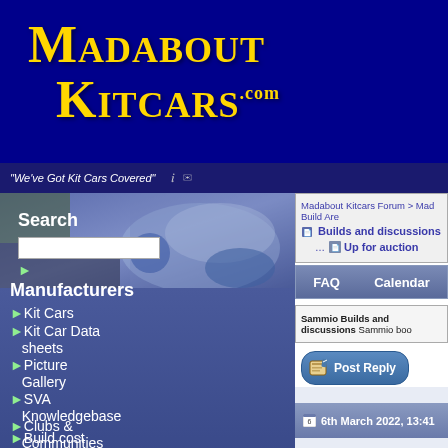[Figure (logo): MadAbout Kitcars.com website logo on dark blue background with gold serif text]
"We've Got Kit Cars Covered"
[Figure (photo): Kit car photo visible in sidebar background]
Search
Manufacturers
Kit Cars
Kit Car Data sheets
Picture Gallery
SVA Knowledgebase
Clubs & Communities
Build cost
Madabout Kitcars Forum > Mad Build Are
Builds and discussions
Up for auction
FAQ   Calendar
Sammio Builds and discussions Sammio boo
Post Reply
6th March 2022, 13:41